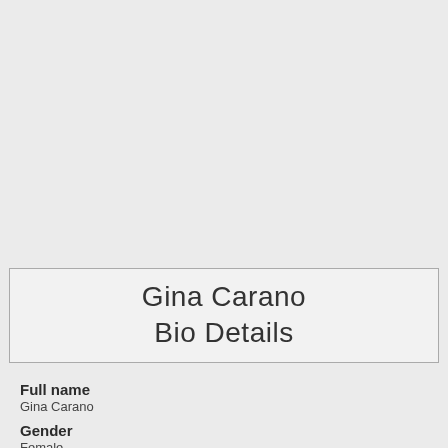[Figure (photo): Empty light gray photo placeholder area at the top of the page]
Gina Carano Bio Details
Full name
Gina Carano
Gender
Female
Age
36 (approx.)